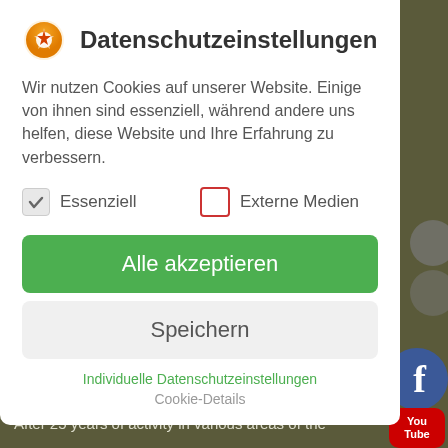Datenschutzeinstellungen
Wir nutzen Cookies auf unserer Website. Einige von ihnen sind essenziell, während andere uns helfen, diese Website und Ihre Erfahrung zu verbessern.
Essenziell
Externe Medien
Alle akzeptieren
Speichern
Individuelle Datenschutzeinstellungen
Cookie-Details
Dirk Mahlstedt
After 25 years of activity in various areas of the